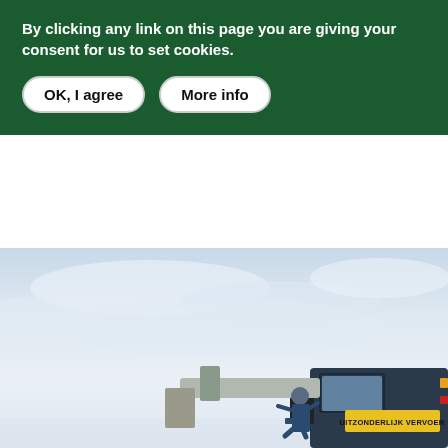By clicking any link on this page you are giving your consent for us to set cookies.
OK, I agree
More info
[Figure (photo): Outdoor photo with light overcast sky. In the lower right portion, a worker in a blue jacket bends over heavy machinery or a large vehicle. Visible is the front/cab area of a large vehicle with a yellow sign reading 'UITZONDERLIJK VERVOER' (meaning 'exceptional transport' in Dutch).]